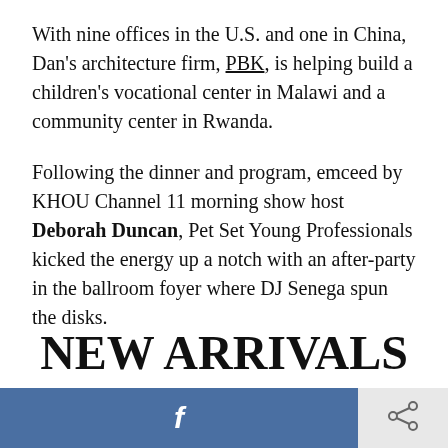With nine offices in the U.S. and one in China, Dan's architecture firm, PBK, is helping build a children's vocational center in Malawi and a community center in Rwanda.
Following the dinner and program, emceed by KHOU Channel 11 morning show host Deborah Duncan, Pet Set Young Professionals kicked the energy up a notch with an after-party in the ballroom foyer where DJ Senega spun the disks.
NEW ARRIVALS